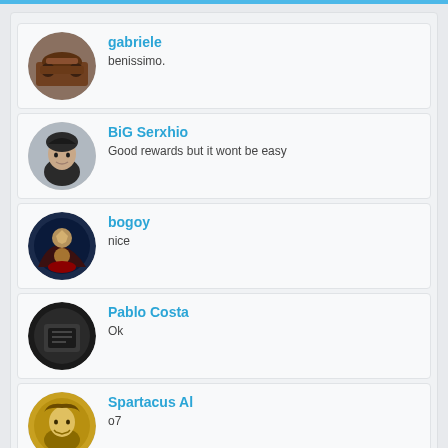gabriele
benissimo.
BiG Serxhio
Good rewards but it wont be easy
bogoy
nice
Pablo Costa
Ok
Spartacus Al
o7
Wiki | Support | Rules | Terms of Service | Privacy | Contact
Follow us: Facebook Youtube Discord
Copyright © 2022 eRevollution 2